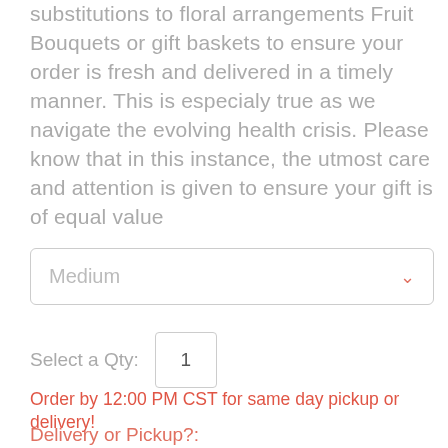substitutions to floral arrangements Fruit Bouquets or gift baskets to ensure your order is fresh and delivered in a timely manner. This is especialy true as we navigate the evolving health crisis. Please know that in this instance, the utmost care and attention is given to ensure your gift is of equal value
Medium
Select a Qty: 1
Order by 12:00 PM CST for same day pickup or delivery!
Delivery or Pickup?: